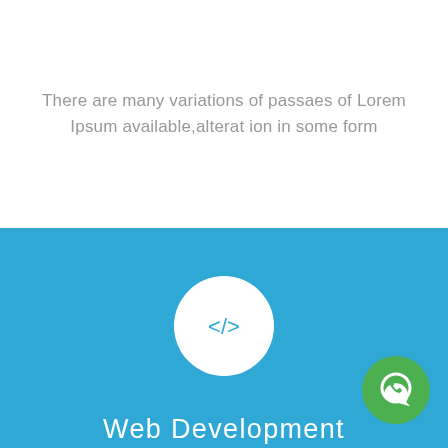There are many variations of passaes of Lorem Ipsum available,alterat ion in some form
[Figure (illustration): White circle with blue code bracket icon </> on blue background - Web Development section]
Web Development
There are many variations of passaes of Lorem Ipsum available,alterat ion in some form
[Figure (illustration): Blue circle with white refresh/reload arrow icon at bottom of page]
[Figure (illustration): Green circle with white WhatsApp chat bubble icon, bottom right corner]